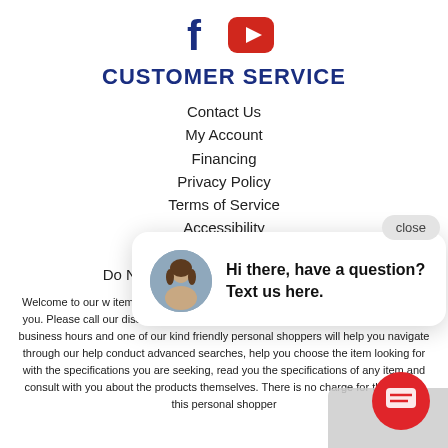[Figure (logo): Facebook and YouTube social media icons]
CUSTOMER SERVICE
Contact Us
My Account
Financing
Privacy Policy
Terms of Service
Accessibility
Site Map
Do Not Sell My Personal Information
Welcome to our w... items on our we... feasible for a com... on every item on... here to help you. Please call our disability services phone line at 1-844-243-3080 during regular business hours and one of our kind friendly personal shoppers will help you navigate through our... help conduct advanced searches, help you choose the item... looking for with the specifications you are seeking, read you the specifications of any item and consult with you about the products themselves. There is no charge for the help of this personal shopper
[Figure (infographic): Chat popup with avatar photo of a woman and text 'Hi there, have a question? Text us here.' with a close button and red chat button]